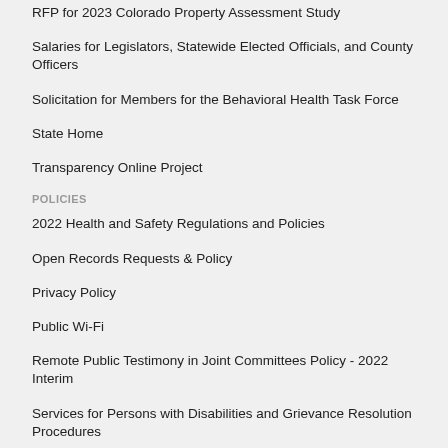RFP for 2023 Colorado Property Assessment Study
Salaries for Legislators, Statewide Elected Officials, and County Officers
Solicitation for Members for the Behavioral Health Task Force
State Home
Transparency Online Project
POLICIES
2022 Health and Safety Regulations and Policies
Open Records Requests & Policy
Privacy Policy
Public Wi-Fi
Remote Public Testimony in Joint Committees Policy - 2022 Interim
Services for Persons with Disabilities and Grievance Resolution Procedures
State of Colorado Accessibility Statement
Workplace Expectations